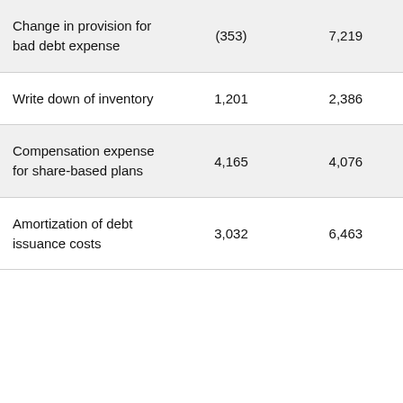| Change in provision for bad debt expense | (353) | 7,219 |
| Write down of inventory | 1,201 | 2,386 |
| Compensation expense for share-based plans | 4,165 | 4,076 |
| Amortization of debt issuance costs | 3,032 | 6,463 |